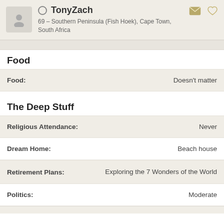TonyZach — 69 – Southern Peninsula (Fish Hoek), Cape Town, South Africa
Food
| Field | Value |
| --- | --- |
| Food: | Doesn't matter |
The Deep Stuff
| Field | Value |
| --- | --- |
| Religious Attendance: | Never |
| Dream Home: | Beach house |
| Retirement Plans: | Exploring the 7 Wonders of the World |
| Politics: | Moderate |